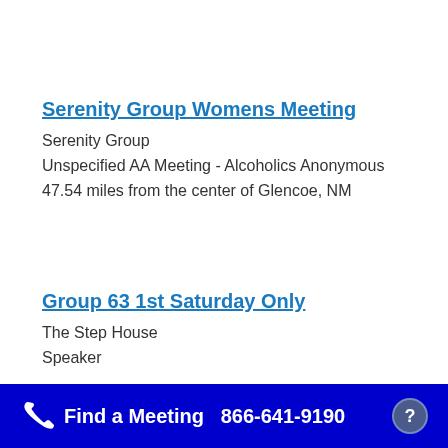Serenity Group Womens Meeting
Serenity Group
Unspecified AA Meeting - Alcoholics Anonymous
47.54 miles from the center of Glencoe, NM
Group 63 1st Saturday Only
The Step House
Speaker
49.13 miles from the center of Glencoe, NM
Find a Meeting  866-641-9190